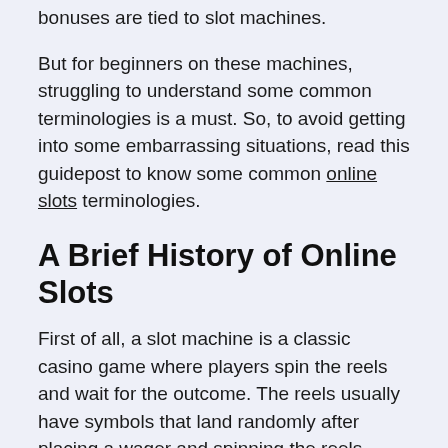bonuses are tied to slot machines.
But for beginners on these machines, struggling to understand some common terminologies is a must. So, to avoid getting into some embarrassing situations, read this guidepost to know some common online slots terminologies.
A Brief History of Online Slots
First of all, a slot machine is a classic casino game where players spin the reels and wait for the outcome. The reels usually have symbols that land randomly after placing a wager and spinning the reels.
That said, these machines have been around dating back to the 19th century. Back then, they used gears and springs to produce results after